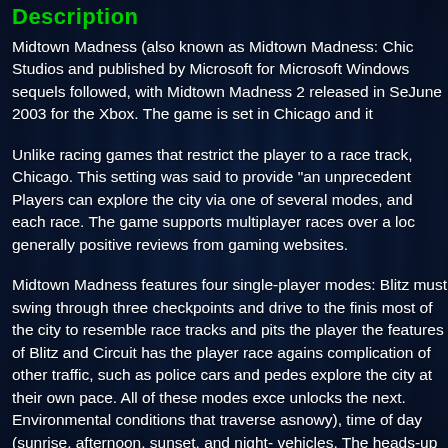Description
Midtown Madness (also known as Midtown Madness: Chic... Studios and published by Microsoft for Microsoft Windows... sequels followed, with Midtown Madness 2 released in Se... June 2003 for the Xbox. The game is set in Chicago and it...
Unlike racing games that restrict the player to a race track,... Chicago. This setting was said to provide "an unprecedent... Players can explore the city via one of several modes, and... each race. The game supports multiplayer races over a loc... generally positive reviews from gaming websites.
Midtown Madness features four single-player modes: Blitz... must swing through three checkpoints and drive to the finis... most of the city to resemble race tracks and pits the player... the features of Blitz and Circuit has the player race agains... complication of other traffic, such as police cars and pedes... explore the city at their own pace. All of these modes exce... unlocks the next. Environmental conditions that traverse a... snowy), time of day (sunrise, afternoon, sunset, and night-... vehicles. The heads-up display includes, alongside informa... can be turned off.